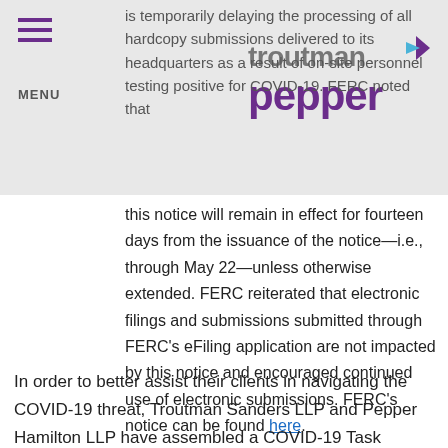is temporarily delaying the processing of all hardcopy submissions delivered to its headquarters as a result of on-site personnel testing positive for COVID-19. FERC noted that
[Figure (logo): Troutman Pepper law firm logo with purple and grey text]
this notice will remain in effect for fourteen days from the issuance of the notice—i.e., through May 22—unless otherwise extended. FERC reiterated that electronic filings and submissions submitted through FERC's eFiling application are not impacted by this notice and encouraged continued use of electronic submissions. FERC's notice can be found here.
In order to better assist their clients in navigating the COVID-19 threat, Troutman Sanders LLP and Pepper Hamilton LLP have assembled a COVID-19 Task